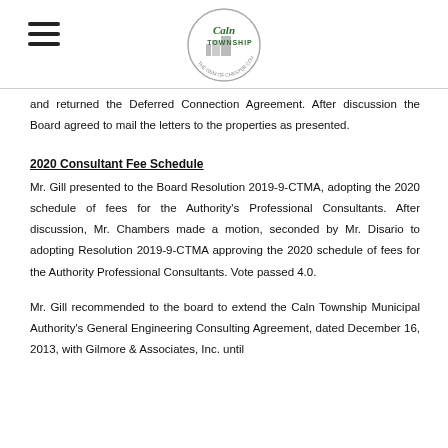Caln Township logo and navigation
and returned the Deferred Connection Agreement. After discussion the Board agreed to mail the letters to the properties as presented.
2020 Consultant Fee Schedule
Mr. Gill presented to the Board Resolution 2019-9-CTMA, adopting the 2020 schedule of fees for the Authority's Professional Consultants. After discussion, Mr. Chambers made a motion, seconded by Mr. Disario to adopting Resolution 2019-9-CTMA approving the 2020 schedule of fees for the Authority Professional Consultants. Vote passed 4.0.
Mr. Gill recommended to the board to extend the Caln Township Municipal Authority's General Engineering Consulting Agreement, dated December 16, 2013, with Gilmore & Associates, Inc. until